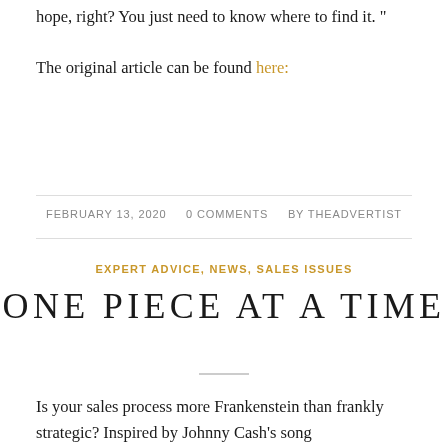hope, right? You just need to know where to find it. “ The original article can be found here:
FEBRUARY 13, 2020   0 COMMENTS   BY THEADVERTIST
EXPERT ADVICE, NEWS, SALES ISSUES
ONE PIECE AT A TIME
Is your sales process more Frankenstein than frankly strategic? Inspired by Johnny Cash’s song